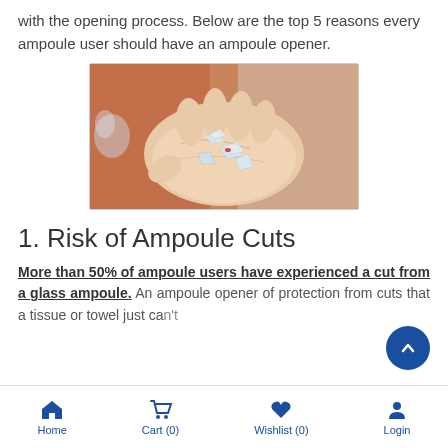with the opening process. Below are the top 5 reasons every ampoule user should have an ampoule opener.
[Figure (photo): A hand holding several small broken glass shards from an ampoule, with a small red cut visible on the palm.]
1. Risk of Ampoule Cuts
More than 50% of ampoule users have experienced a cut from a glass ampoule. An ampoule opener of protection from cuts that a tissue or towel just can't
Home   Cart (0)   Wishlist (0)   Login